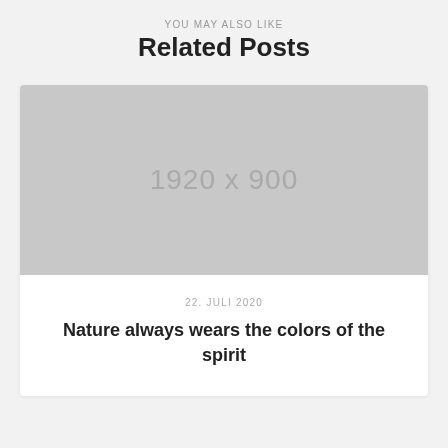YOU MAY ALSO LIKE
Related Posts
[Figure (other): Placeholder image rectangle showing dimensions 1920 x 900 in gray]
22. JULI 2020
Nature always wears the colors of the spirit